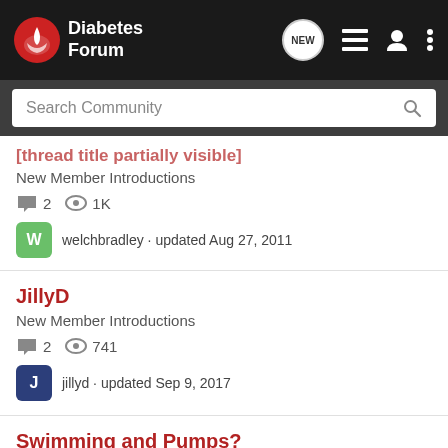Diabetes Forum
Search Community
[partial thread title] New Member Introductions · 2 replies · 1K views · welchbradley · updated Aug 27, 2011
JillyD
New Member Introductions · 2 replies · 741 views · jillyd · updated Sep 9, 2017
Swimming and Pumps?
Insulin Pumps